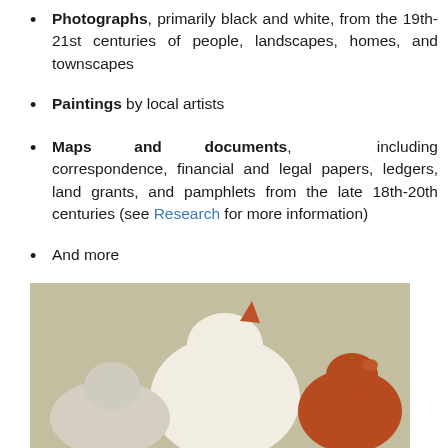Photographs, primarily black and white, from the 19th-21st centuries of people, landscapes, homes, and townscapes
Paintings by local artists
Maps and documents, including correspondence, financial and legal papers, ledgers, land grants, and pamphlets from the late 18th-20th centuries (see Research for more information)
And more
[Figure (photo): Photo of decorative ceramic or carved bird figurines on a light background]